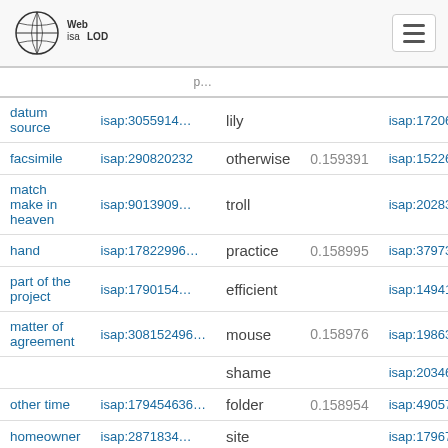Web isa LOD
| term | isap | word | score | isap2 |
| --- | --- | --- | --- | --- |
| datum source | isap:3055914… | lily |  | isap:1720623… |
| facsimile | isap:290820232 | otherwise | 0.159391 | isap:1522680… |
| match make in heaven | isap:9013909… | troll |  | isap:2028383… |
| hand | isap:17822996… | practice | 0.158995 | isap:3797327… |
| part of the project | isap:1790154… | efficient |  | isap:1494152… |
| matter of agreement | isap:308152496… | mouse | 0.158976 | isap:1986346… |
|  |  | shame |  | isap:2034654… |
| other time | isap:179454636… | folder | 0.158954 | isap:4905761… |
| homeowner | isap:2871834… | site |  | isap:1796787… |
| attorney | isap:459817417… | mm | 0.158914 | isap:3338204… |
| personal | isap:4609589… |  |  |  |